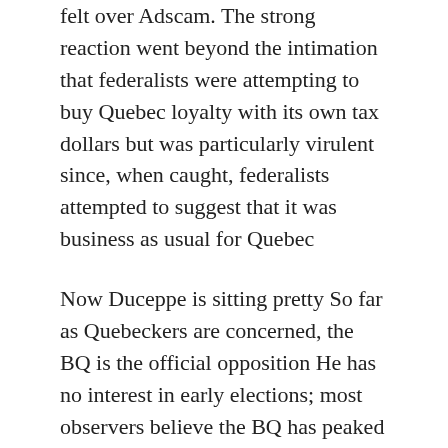felt over Adscam. The strong reaction went beyond the intimation that federalists were attempting to buy Quebec loyalty with its own tax dollars but was particularly virulent since, when caught, federalists attempted to suggest that it was business as usual for Quebec
Now Duceppe is sitting pretty So far as Quebeckers are concerned, the BQ is the official opposition He has no interest in early elections; most observers believe the BQ has peaked (Duceppe does not) Moreover, he is unconcerned over Conservative efforts to develop a Quebec foothold; instead, the BQ